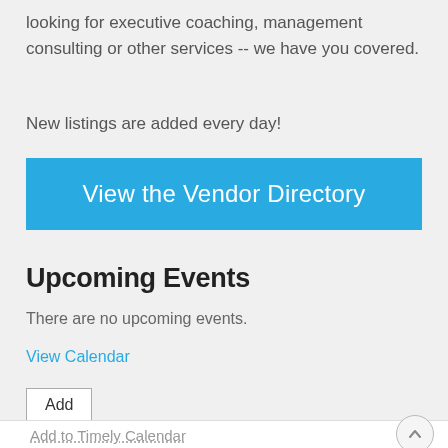looking for executive coaching, management consulting or other services -- we have you covered.
New listings are added every day!
View the Vendor Directory
Upcoming Events
There are no upcoming events.
View Calendar
Add
Add to Timely Calendar